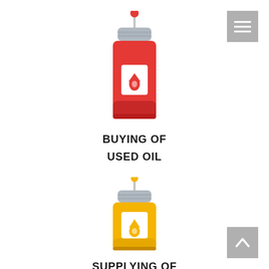[Figure (illustration): Red oil bottle icon with a dropper cap and oil drop symbol on white label]
BUYING OF
USED OIL
[Figure (illustration): Yellow/orange oil bottle icon with a dropper cap and oil drop symbol on white label]
SUPPLYING OF